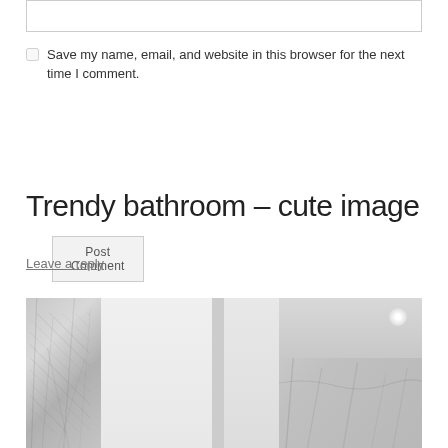[text input box]
Save my name, email, and website in this browser for the next time I comment.
Post Comment
Trendy bathroom – cute image
Leave a reply
[Figure (photo): Bathroom interior showing marble walls and white panels, split into multiple vertical sections]